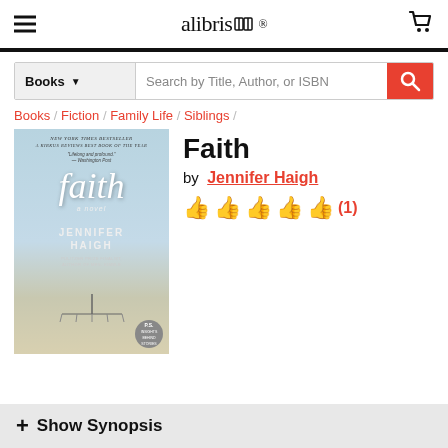alibris
Books | Search by Title, Author, or ISBN
Books / Fiction / Family Life / Siblings /
[Figure (illustration): Book cover for 'Faith' by Jennifer Haigh. Light blue-grey background showing a pier over water. White italic script title 'faith' in large letters, subtitle 'a novel', author name 'JENNIFER HAIGH' in caps. Top text: 'NEW YORK TIMES BESTSELLER'. P.S. badge in bottom right.]
Faith
by Jennifer Haigh
(1)
+ Show Synopsis